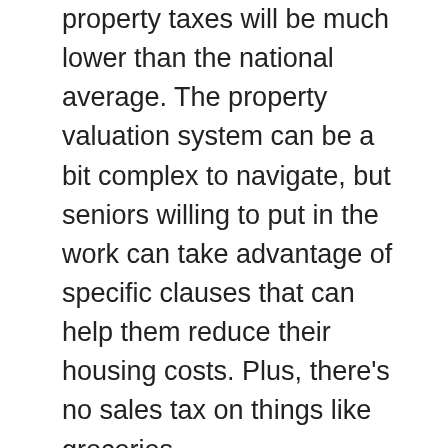property taxes will be much lower than the national average. The property valuation system can be a bit complex to navigate, but seniors willing to put in the work can take advantage of specific clauses that can help them reduce their housing costs. Plus, there's no sales tax on things like groceries.
5. YOU'LL HAVE LESS ARTHRITIS PAIN
While this benefit doesn't apply to all active seniors, arthritis is an age-related condition, so whether you're already